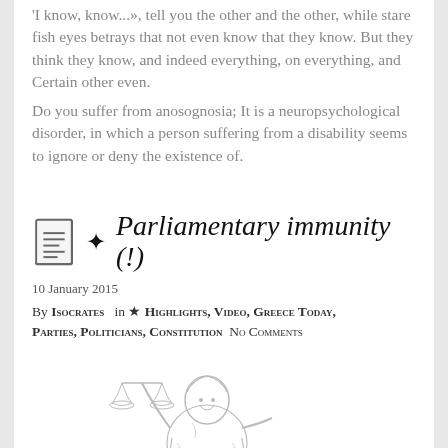'I know, know...», tell you the other and the other, while stare fish eyes betrays that not even know that they know. But they think they know, and indeed everything, on everything, and Certain other even.
Do you suffer from anosognosia; It is a neuropsychological disorder, in which a person suffering from a disability seems to ignore or deny the existence of.
✦ Parliamentary immunity (!)
10 January 2015
By Isocrates in ★ HIGHLIGHTS, VIDEO, GREECE TODAY, PARTIES, POLITICIANS, CONSTITUTION No Comments
[Figure (illustration): A pencil sketch illustration of a figure (appearing to be a superhero or heroic person) holding scales of justice, suggesting a theme of law and parliamentary immunity.]